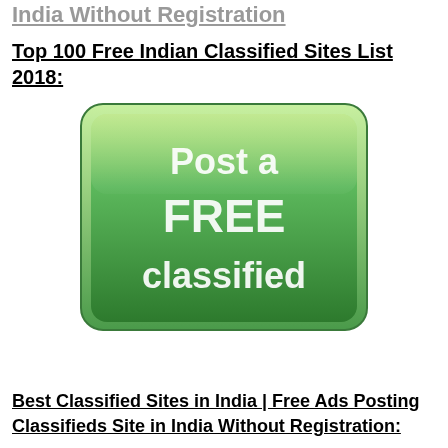India Without Registration
Top 100 Free Indian Classified Sites List 2018:
[Figure (illustration): Green button with white text reading 'Post a FREE classified']
Best Classified Sites in India | Free Ads Posting Classifieds Site in India Without Registration: